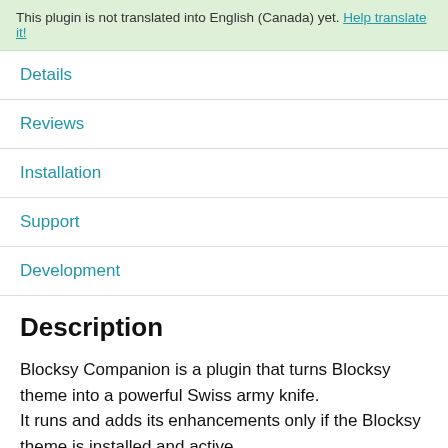This plugin is not translated into English (Canada) yet. Help translate it!
Details
Reviews
Installation
Support
Development
Description
Blocksy Companion is a plugin that turns Blocksy theme into a powerful Swiss army knife.
It runs and adds its enhancements only if the Blocksy theme is installed and active.